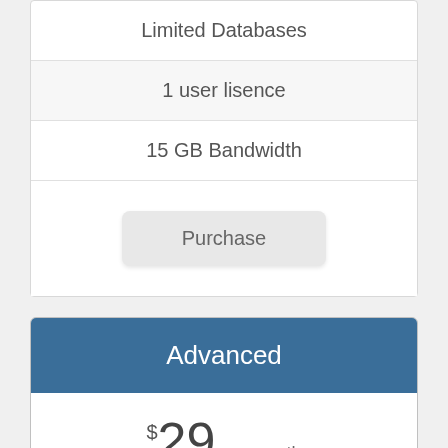Limited Databases
1 user lisence
15 GB Bandwidth
Purchase
Advanced
$29 per month
10 GB storage